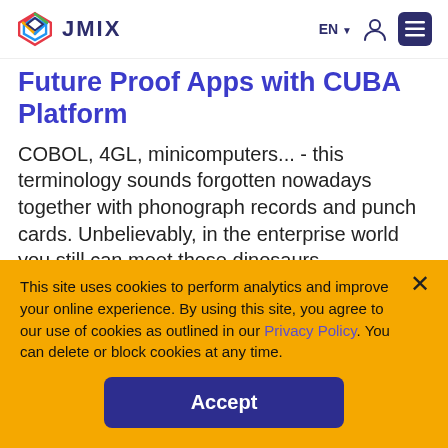JMIX | EN | (user icon) | (menu)
Future Proof Apps with CUBA Platform
COBOL, 4GL, minicomputers... - this terminology sounds forgotten nowadays together with phonograph records and punch cards. Unbelievably, in the enterprise world you still can meet these dinosaurs
This site uses cookies to perform analytics and improve your online experience. By using this site, you agree to our use of cookies as outlined in our Privacy Policy. You can delete or block cookies at any time.
Accept